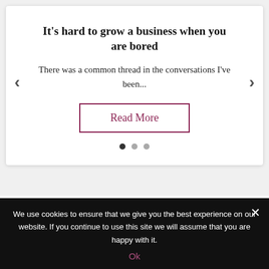It's hard to grow a business when you are bored
There was a common thread in the conversations I've been...
[Figure (other): Read More button with burgundy border, and carousel navigation arrows and dot indicators]
Diversity Statement
We use cookies to ensure that we give you the best experience on our website. If you continue to use this site we will assume that you are happy with it.
Ok